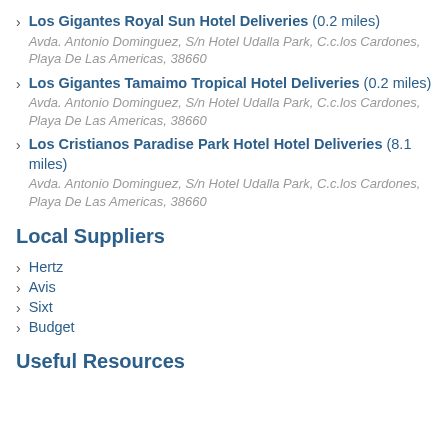Los Gigantes Royal Sun Hotel Deliveries (0.2 miles)
Avda. Antonio Dominguez, S/n Hotel Udalla Park, C.c.los Cardones, Playa De Las Americas, 38660
Los Gigantes Tamaimo Tropical Hotel Deliveries (0.2 miles)
Avda. Antonio Dominguez, S/n Hotel Udalla Park, C.c.los Cardones, Playa De Las Americas, 38660
Los Cristianos Paradise Park Hotel Hotel Deliveries (8.1 miles)
Avda. Antonio Dominguez, S/n Hotel Udalla Park, C.c.los Cardones, Playa De Las Americas, 38660
Local Suppliers
Hertz
Avis
Sixt
Budget
Useful Resources